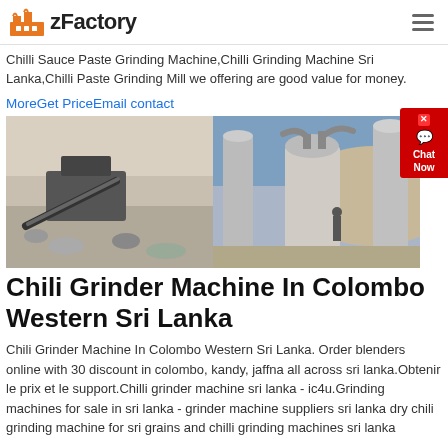zFactory
Chilli Sauce Paste Grinding Machine,Chilli Grinding Machine Sri Lanka,Chilli Paste Grinding Mill we offering are good value for money.
MoreGet PriceEmail contact
[Figure (photo): Two photos side by side: left shows a stone crushing machine at a quarry site; right shows a vertical grinding mill with silos in an industrial setting.]
Chili Grinder Machine In Colombo Western Sri Lanka
Chili Grinder Machine In Colombo Western Sri Lanka. Order blenders online with 30 discount in colombo, kandy, jaffna all across sri lanka.Obtenir le prix et le support.Chilli grinder machine sri lanka - ic4u.Grinding machines for sale in sri lanka - grinder machine suppliers sri lanka dry chili grinding machine for sri grains and chilli grinding machines sri lanka